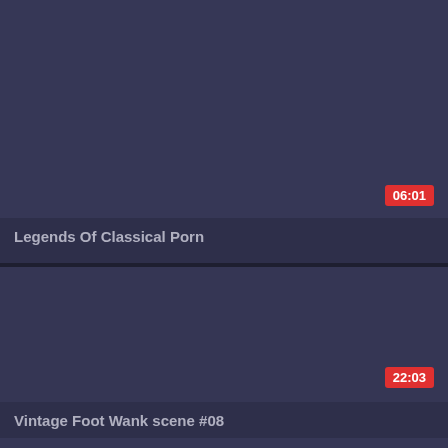[Figure (screenshot): Video thumbnail placeholder — dark blue-grey rectangle for 'Legends Of Classical Porn', duration badge showing 06:01]
Legends Of Classical Porn
[Figure (screenshot): Video thumbnail placeholder — dark blue-grey rectangle for 'Vintage Foot Wank scene #08', duration badge showing 22:03]
Vintage Foot Wank scene #08